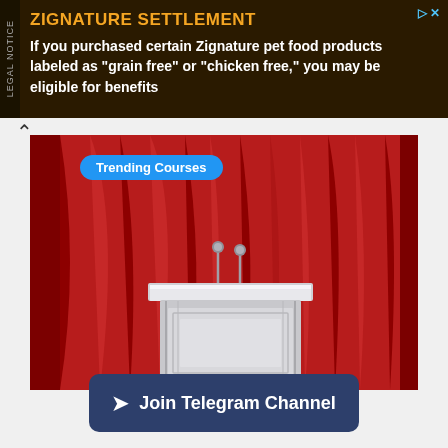LEGAL NOTICE — ZIGNATURE SETTLEMENT — If you purchased certain Zignature pet food products labeled as "grain free" or "chicken free," you may be eligible for benefits
Trending Courses
[Figure (illustration): Illustration of a white podium/lectern with two microphones against a red curtain background, representing a public speaking or debate setting.]
Join Telegram Channel